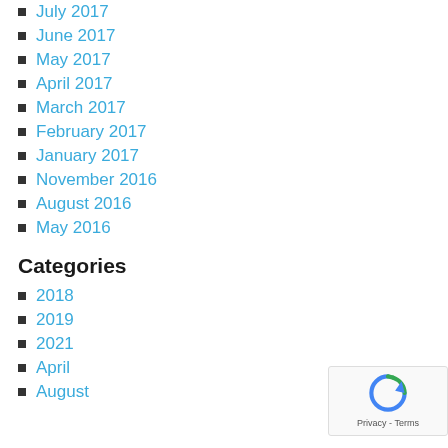July 2017
June 2017
May 2017
April 2017
March 2017
February 2017
January 2017
November 2016
August 2016
May 2016
Categories
2018
2019
2021
April
August
Belief Cent...